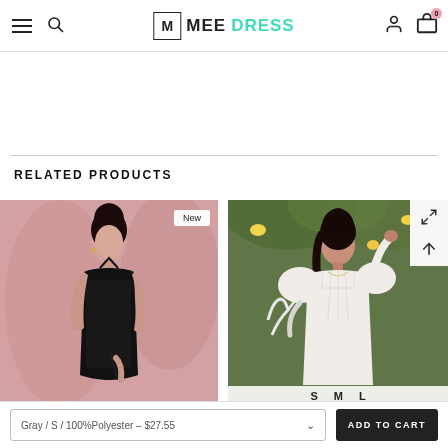MEEDRESS - navigation header with menu, search, logo, account, cart (0)
RELATED PRODUCTS
[Figure (photo): Model wearing a black sequin halter gown with slit, posed in front of pink background. Badge reads 'New'.]
[Figure (photo): Model wearing a white puff-sleeve corset dress outdoors with lemon trees. Size options S M L shown at bottom.]
Gray / S / 100%Polyester – $27.55
ADD TO CART